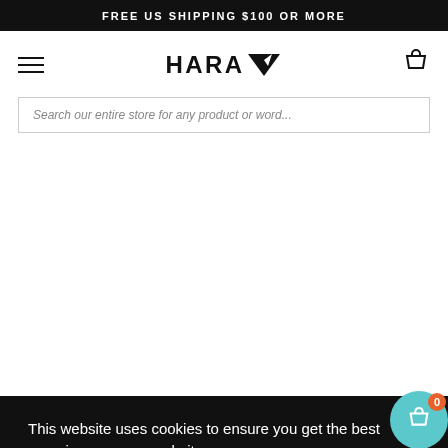FREE US SHIPPING $100 OR MORE
[Figure (logo): HARA brand logo with stylized leaf/arrow icon]
Search our entire store for any product or word...
This website uses cookies to ensure you get the best experience on our website.
Learn More
Got it!